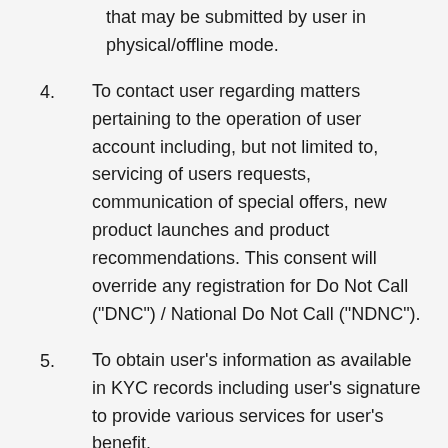that may be submitted by user in physical/offline mode.
4. To contact user regarding matters pertaining to the operation of user account including, but not limited to, servicing of users requests, communication of special offers, new product launches and product recommendations. This consent will override any registration for Do Not Call ("DNC") / National Do Not Call ("NDNC").
5. To obtain user's information as available in KYC records including user's signature to provide various services for user's benefit.